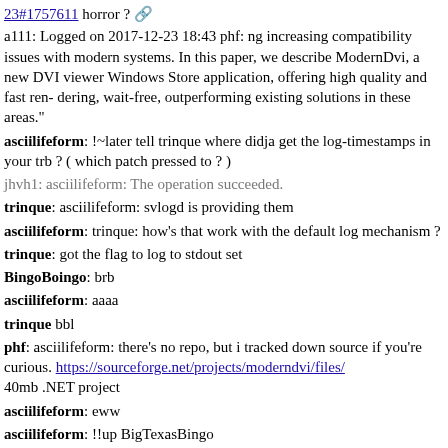23#1757611 horror ?
a111: Logged on 2017-12-23 18:43 phf: ng increasing compatibility issues with modern systems. In this paper, we describe ModernDvi, a new DVI viewer Windows Store application, offering high quality and fast ren- dering, wait-free, outperforming existing solutions in these areas."
asciilifeform: !~later tell trinque where didja get the log-timestamps in your trb ? ( which patch pressed to ? )
jhvh1: asciilifeform: The operation succeeded.
trinque: asciilifeform: svlogd is providing them
asciilifeform: trinque: how's that work with the default log mechanism ?
trinque: got the flag to log to stdout set
BingoBoingo:  brb
asciilifeform: aaaa
trinque bbl
phf: asciilifeform: there's no repo, but i tracked down source if you're curious. https://sourceforge.net/projects/moderndvi/files/ 40mb .NET project
asciilifeform: eww
asciilifeform: !!up BigTexasBingo
deedbot: BigTexasBingo voiced for 30 minutes.
BigTexasBingo: Watching my first car accident aftermath
BigTexasBingo: Two cars clipped each other in front of the hostel and the girl driver swerved post collision into power pole